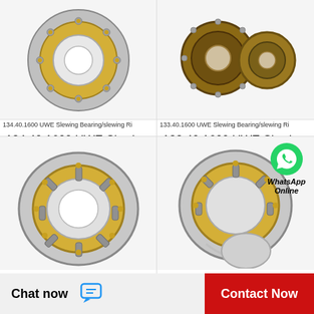[Figure (photo): 134.40.1600 UWE Slewing Bearing/slewing Ring - angular contact ball bearing, silver/gold metallic ring]
134.40.1600 UWE Slewing Bearing/slewing Ri
134.40.1600 UWE Slewing Bearing/slewing Ring
[Figure (photo): 133.40.1600 UWE Slewing Bearing/slewing Ring - brown/bronze double ring bearing set]
133.40.1600 UWE Slewing Bearing/slewing Ri
133.40.1600 UWE Slewing Bearing/slewing Ring
[Figure (photo): Cylindrical roller bearing, silver and gold metallic, bottom-left product]
[Figure (photo): Cylindrical roller bearing with WhatsApp Online overlay, bottom-right product]
WhatsApp Online
Chat now
Contact Now